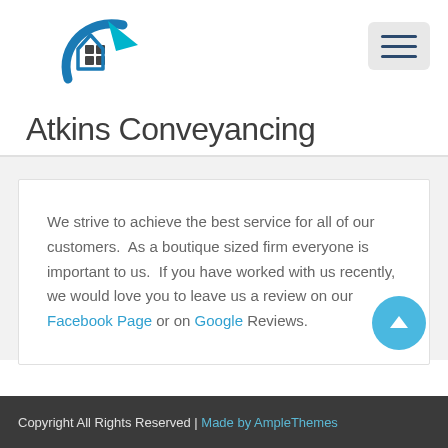[Figure (logo): Atkins Conveyancing logo: a house outline with blue swoosh arc and teal arrow]
Atkins Conveyancing
We strive to achieve the best service for all of our customers.  As a boutique sized firm everyone is important to us.  If you have worked with us recently, we would love you to leave us a review on our Facebook Page or on Google Reviews.
Copyright All Rights Reserved | Made by AmpleThemes